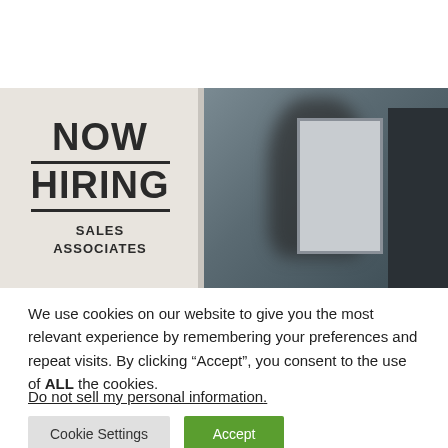[Figure (photo): A 'NOW HIRING SALES ASSOCIATES' sign visible in a store window. Left side shows white sign with bold black text on a beige background. Right side shows a blurred person near a door frame with grey-blue tones.]
We use cookies on our website to give you the most relevant experience by remembering your preferences and repeat visits. By clicking “Accept”, you consent to the use of ALL the cookies.
Do not sell my personal information.
Cookie Settings
Accept